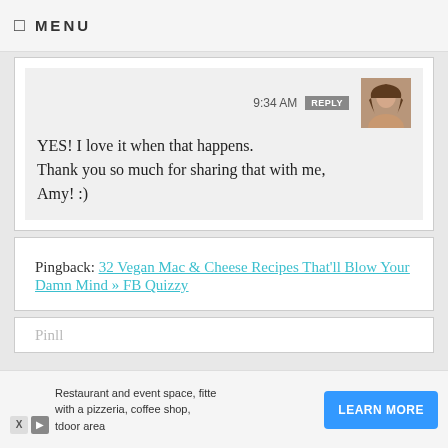☰ MENU
9:34 AM  REPLY
YES! I love it when that happens. Thank you so much for sharing that with me, Amy! :)
Pingback: 32 Vegan Mac & Cheese Recipes That'll Blow Your Damn Mind » FB Quizzy
Restaurant and event space, fitted with a pizzeria, coffee shop, tdoor area  LEARN MORE